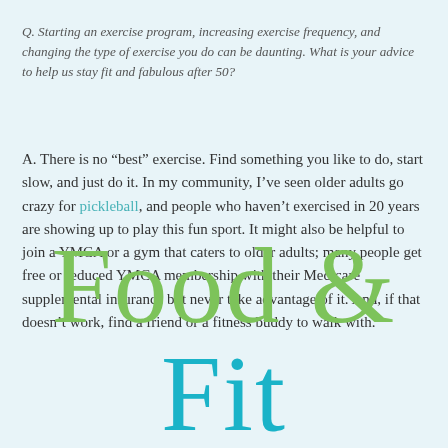Q. Starting an exercise program, increasing exercise frequency, and changing the type of exercise you do can be daunting. What is your advice to help us stay fit and fabulous after 50?
A. There is no “best” exercise. Find something you like to do, start slow, and just do it. In my community, I’ve seen older adults go crazy for pickleball, and people who haven’t exercised in 20 years are showing up to play this fun sport. It might also be helpful to join a YMCA or a gym that caters to older adults; many people get free or reduced YMCA membership with their Medicare supplemental insurance but never take advantage of it. And, if that doesn’t work, find a friend or a fitness buddy to walk with.
Food & Fit